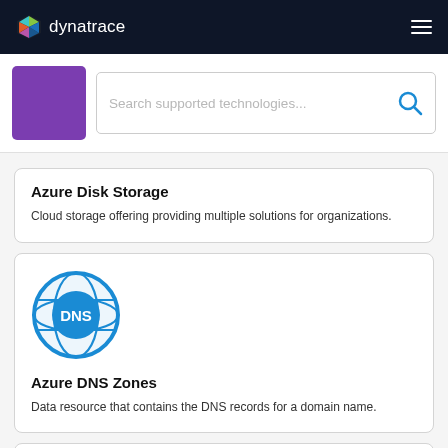dynatrace
[Figure (screenshot): Search bar with placeholder text 'Search supported technologies...' and a purple box icon on the left]
Azure Disk Storage
Cloud storage offering providing multiple solutions for organizations.
[Figure (logo): Azure DNS Zones globe icon with DNS text in blue circular badge]
Azure DNS Zones
Data resource that contains the DNS records for a domain name.